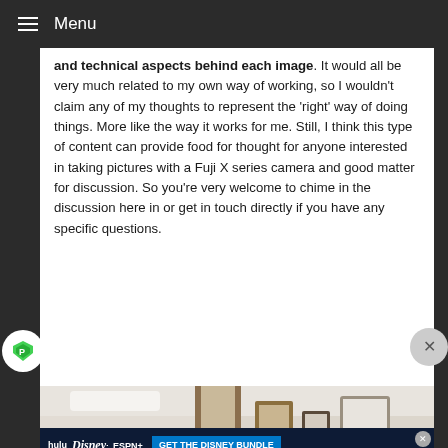Menu
and technical aspects behind each image. It would all be very much related to my own way of working, so I wouldn't claim any of my thoughts to represent the 'right' way of doing things. More like the way it works for me. Still, I think this type of content can provide food for thought for anyone interested in taking pictures with a Fuji X series camera and good matter for discussion. So you're very welcome to chime in the discussion here in or get in touch directly if you have any specific questions.
[Figure (photo): Interior room photo showing white walls, framed pictures/artwork hung on wall, a shelf with small items, wooden door frames visible.]
[Figure (screenshot): Advertisement banner for Disney Bundle (Hulu, Disney+, ESPN+) with GET THE DISNEY BUNDLE button and fine print about 2021 Disney and related entities.]